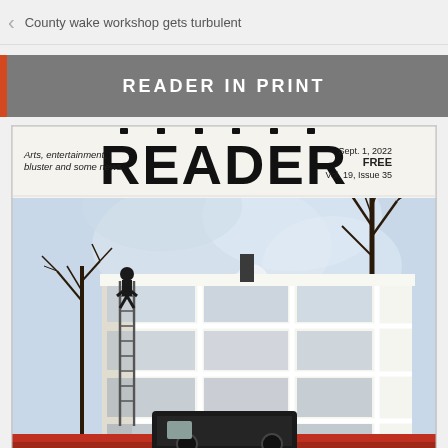County wake workshop gets turbulent
READER IN PRINT
[Figure (illustration): Cover of the Reader newspaper magazine showing a painted illustration of a building exterior with white grid windows, bare winter trees, a person climbing a ladder, and a steam locomotive below. The masthead reads 'READER' in large film-strip styled letters with tagline 'Arts, entertainment, bluster and some news'. Date: Sept. 1, 2022, FREE, Vol. 19, Issue 35.]